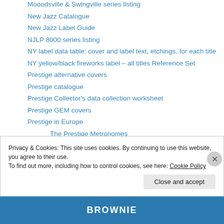Mooodsville & Swingville series listing
New Jazz Catalogue
New Jazz Label Guide
NJLP 8000 series listing
NY label data table: cover and label text, etchings, for each title
NY yellow/black fireworks label – all titles Reference Set
Prestige alternative covers
Prestige catalogue
Prestige Collector's data collection worksheet
Prestige GEM covers
Prestige in Europe
The Prestige Metronomes
Prestige in Japan
Privacy & Cookies: This site uses cookies. By continuing to use this website, you agree to their use.
To find out more, including how to control cookies, see here: Cookie Policy